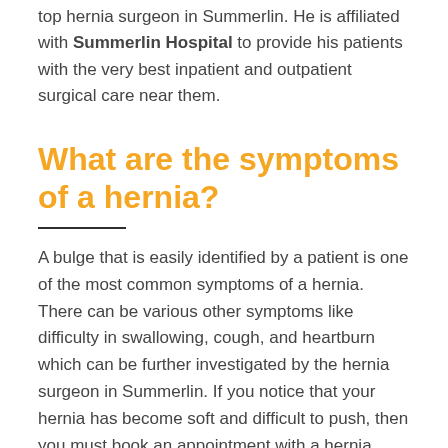top hernia surgeon in Summerlin. He is affiliated with Summerlin Hospital to provide his patients with the very best inpatient and outpatient surgical care near them.
What are the symptoms of a hernia?
A bulge that is easily identified by a patient is one of the most common symptoms of a hernia. There can be various other symptoms like difficulty in swallowing, cough, and heartburn which can be further investigated by the hernia surgeon in Summerlin. If you notice that your hernia has become soft and difficult to push, then you must book an appointment with a hernia specialist